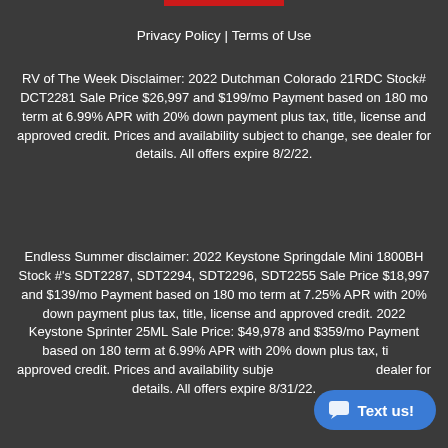Privacy Policy | Terms of Use
RV of The Week Disclaimer: 2022 Dutchman Colorado 21RDC Stock# DCT2281 Sale Price $26,997 and $199/mo Payment based on 180 mo term at 6.99% APR with 20% down payment plus tax, title, license and approved credit. Prices and availability subject to change, see dealer for details. All offers expire 8/2/22.
Endless Summer disclaimer: 2022 Keystone Springdale Mini 1800BH Stock #'s SDT2287, SDT2294, SDT2296, SDT2255 Sale Price $18,997 and $139/mo Payment based on 180 mo term at 7.25% APR with 20% down payment plus tax, title, license and approved credit. 2022 Keystone Sprinter 25ML Sale Price: $49,978 and $359/mo Payment based on 180 term at 6.99% APR with 20% down plus tax, title, approved credit. Prices and availability subject to change, see dealer for details. All offers expire 8/31/22.